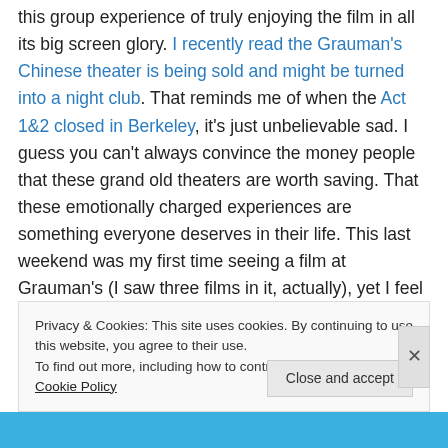this group experience of truly enjoying the film in all its big screen glory. I recently read the Grauman's Chinese theater is being sold and might be turned into a night club. That reminds me of when the Act 1&2 closed in Berkeley, it's just unbelievable sad. I guess you can't always convince the money people that these grand old theaters are worth saving. That these emotionally charged experiences are something everyone deserves in their life. This last weekend was my first time seeing a film at Grauman's (I saw three films in it, actually), yet I feel a deep sadness and concern for it. I'll always cherish my
Privacy & Cookies: This site uses cookies. By continuing to use this website, you agree to their use. To find out more, including how to control cookies, see here: Cookie Policy
Close and accept